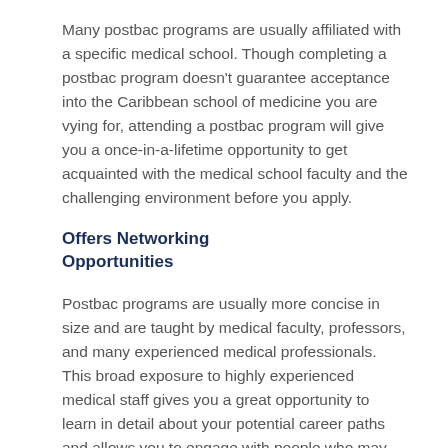Many postbac programs are usually affiliated with a specific medical school. Though completing a postbac program doesn't guarantee acceptance into the Caribbean school of medicine you are vying for, attending a postbac program will give you a once-in-a-lifetime opportunity to get acquainted with the medical school faculty and the challenging environment before you apply.
Offers Networking Opportunities
Postbac programs are usually more concise in size and are taught by medical faculty, professors, and many experienced medical professionals. This broad exposure to highly experienced medical staff gives you a great opportunity to learn in detail about your potential career paths and allows you to engage with people who may